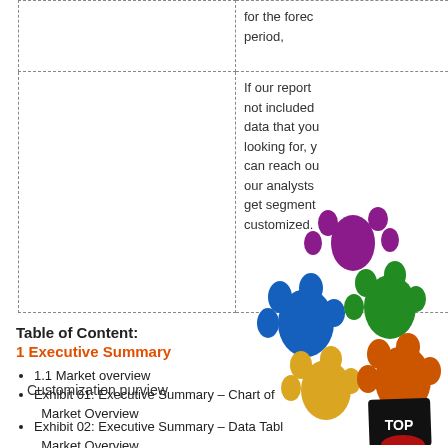|  |  |
| --- | --- |
|  | for the forec period, |
| Customization purview | If our report not included data that you looking for, y can reach ou our analysts get segment customized. |
Table of Content:
1 Executive Summary
1.1 Market overview
Exhibit 01: Executive Summary – Chart of Market Overview
Exhibit 02: Executive Summary – Data Table Market Overview
Exhibit 03: Executive Summary – Chart...